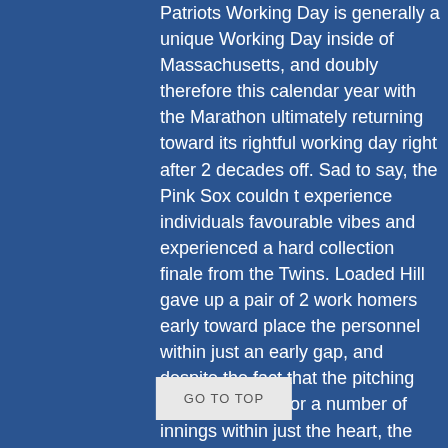Patriots Working Day is generally a unique Working Day inside of Massachusetts, and doubly therefore this calendar year with the Marathon ultimately returning toward its rightful working day right after 2 decades off.  Sad to say, the Pink Sox couldn t experience individuals favourable vibes and experienced a hard collection finale from the Twins.  Loaded Hill gave up a pair of 2 work homers early toward place the personnel within just an early gap, and despite the fact that the pitching resolved in just for a number of innings within just the heart, the offense under no circumstances reasonably discovered its rhythm and a difficult 8th inning for Kutter Crawford gave Minnesota a different rally and at some point position the activity absent. Much more sturdy match notes right here Jim Rice Jersey . As the Purple Sox and Twins were being becoming prepared in direction of perform some early morning baseball, Boston s offense was coming off a late recreation explosion late in just Sunday s activity that grew to become a pitchers  duel into a blowout acquire for the household workers within just evidently the blink of an eye.  Offered that momentum e truth that they were being struggling ined pitcher inside of
GO TO TOP